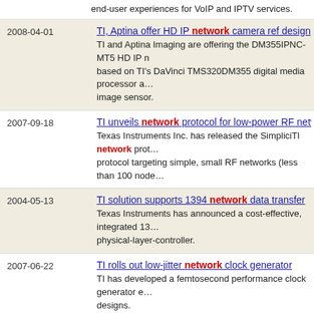end-user experiences for VoIP and IPTV services.
2008-04-01 | TI, Aptina offer HD IP network camera ref design | TI and Aptina Imaging are offering the DM355IPNC-MT5 HD IP n... based on TI's DaVinci TMS320DM355 digital media processor a... image sensor.
2007-09-18 | TI unveils network protocol for low-power RF networks | Texas Instruments Inc. has released the SimpliciTI network prot... protocol targeting simple, small RF networks (less than 100 node...
2004-05-13 | TI solution supports 1394 network data transfer | Texas Instruments has announced a cost-effective, integrated 13... physical-layer-controller.
2007-06-22 | TI rolls out low-jitter network clock generator | TI has developed a femtosecond performance clock generator e... designs.
2004-03-16 | TI reference design eyes EDGE in network | Texas Instruments Inc. has assembled a reference design with a... phone for EDGE networks with an integrated Bluetooth capability...
2003-09-17 | TI DAC eyes wireless network cards, handheld radios | Texas Instruments has released what it claims is the industry's lo... DAC from the company's Burr-Brown product line.
2003-07-16 | The realities of optical network design